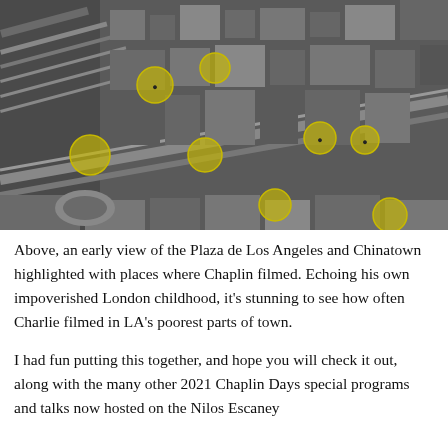[Figure (map): Aerial black-and-white photograph of Plaza de Los Angeles and Chinatown area, with yellow circular highlights marking places where Chaplin filmed.]
Above, an early view of the Plaza de Los Angeles and Chinatown highlighted with places where Chaplin filmed. Echoing his own impoverished London childhood, it's stunning to see how often Charlie filmed in LA's poorest parts of town.
I had fun putting this together, and hope you will check it out, along with the many other 2021 Chaplin Days special programs and talks now hosted on the Nilos Escaney